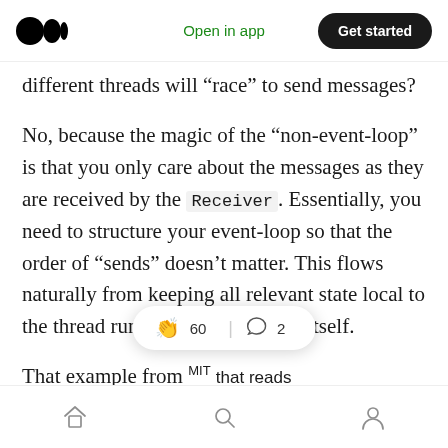Medium app header — Open in app | Get started
different threads will “race” to send messages?
No, because the magic of the “non-event-loop” is that you only care about the messages as they are received by the Receiver. Essentially, you need to structure your event-loop so that the order of “sends” doesn’t matter. This flows naturally from keeping all relevant state local to the thread running the event-loop itself.
That example from MIT that reads “Unfortunately, . . . doesn’t
Home | Search | Profile — 60 claps | 2 comments